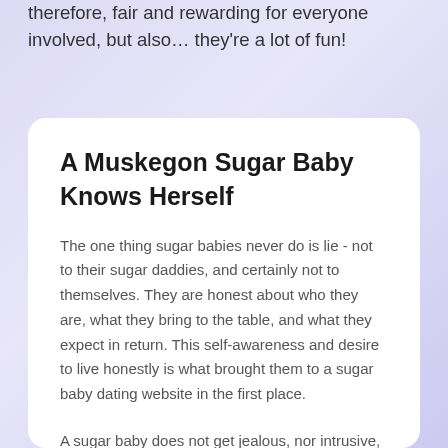therefore, fair and rewarding for everyone involved, but also… they're a lot of fun!
A Muskegon Sugar Baby Knows Herself
The one thing sugar babies never do is lie - not to their sugar daddies, and certainly not to themselves. They are honest about who they are, what they bring to the table, and what they expect in return. This self-awareness and desire to live honestly is what brought them to a sugar baby dating website in the first place.
A sugar baby does not get jealous, nor intrusive, into their partner's life. The boundaries of their sugar dating relationships are well-defined from the very beginning, and they happily stay within those boundaries at all times.